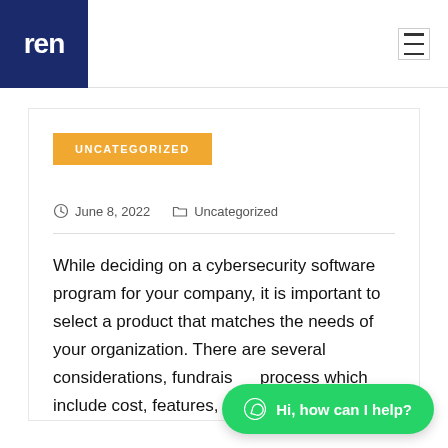[Figure (logo): REN logo — white text 'ren' on dark navy blue square background]
Navigation hamburger menu icon
UNCATEGORIZED
June 8, 2022   Uncategorized
While deciding on a cybersecurity software program for your company, it is important to select a product that matches the needs of your organization. There are several considerations, fundrais... process which include cost, features, and